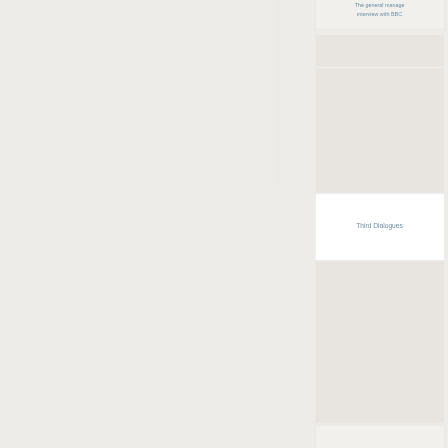The general manage interview with BBC
Third Dialogues